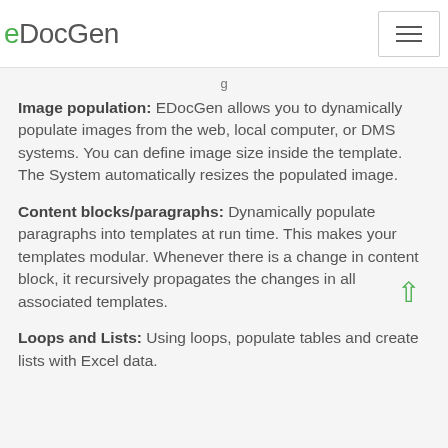eDocGen
Image population: EDocGen allows you to dynamically populate images from the web, local computer, or DMS systems. You can define image size inside the template. The System automatically resizes the populated image.
Content blocks/paragraphs: Dynamically populate paragraphs into templates at run time. This makes your templates modular. Whenever there is a change in content block, it recursively propagates the changes in all associated templates.
Loops and Lists: Using loops, populate tables and create lists with Excel data.